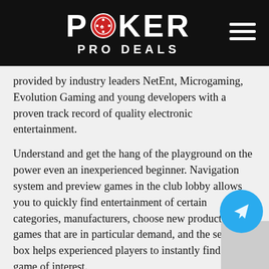POKER PRO DEALS
provided by industry leaders NetEnt, Microgaming, Evolution Gaming and young developers with a proven track record of quality electronic entertainment.
Understand and get the hang of the playground on the power even an inexperienced beginner. Navigation system and preview games in the club lobby allows you to quickly find entertainment of certain categories, manufacturers, choose new products and games that are in particular demand, and the search box helps experienced players to instantly find the game of interest.
The largest number of games contains a section Slots, in which fans of this category will find and classic “one-armed bandits” and the latest developments, characterized by an abundance of bonus features that increase the possibility of winning, and fascinating stories based on the famous bestsellers, complemented by interesting videos and sound accompaniment. Book of Dead and Extra Chilli, Sakura Fortune and Razor Shark, Deadwood and Money